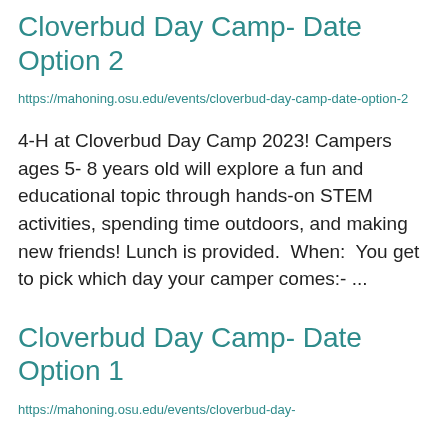Cloverbud Day Camp- Date Option 2
https://mahoning.osu.edu/events/cloverbud-day-camp-date-option-2
4-H at Cloverbud Day Camp 2023! Campers ages 5- 8 years old will explore a fun and educational topic through hands-on STEM activities, spending time outdoors, and making new friends! Lunch is provided. When: You get to pick which day your camper comes:- ...
Cloverbud Day Camp- Date Option 1
https://mahoning.osu.edu/events/cloverbud-day-